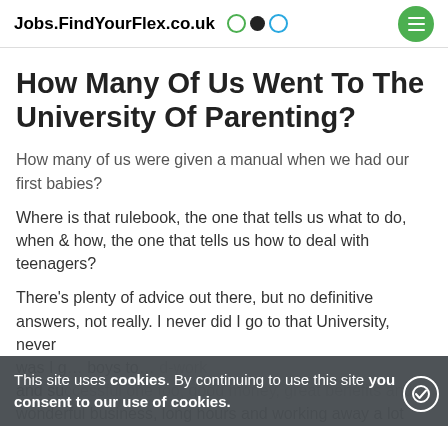Jobs.FindYourFlex.co.uk
How Many Of Us Went To The University Of Parenting?
How many of us were given a manual when we had our first babies?
Where is that rulebook, the one that tells us what to do, when & how, the one that tells us how to deal with teenagers?
There's plenty of advice out there, but no definitive answers, not really. I never did I go to that University, never was I g... boys to... and su... wonderful business, long hours and working away a lot
This site uses cookies. By continuing to use this site you consent to our use of cookies.